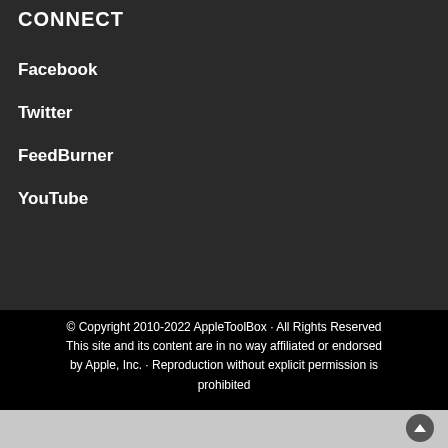CONNECT
Facebook
Twitter
FeedBurner
YouTube
© Copyright 2010-2022 AppleToolBox · All Rights Reserved
This site and its content are in no way affiliated or endorsed by Apple, Inc. · Reproduction without explicit permission is prohibited